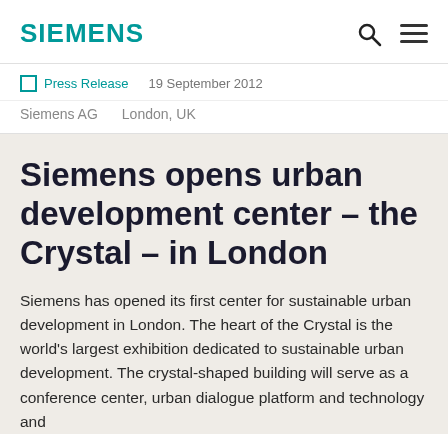SIEMENS
Press Release   19 September 2012
Siemens AG    London, UK
Siemens opens urban development center – the Crystal – in London
Siemens has opened its first center for sustainable urban development in London. The heart of the Crystal is the world's largest exhibition dedicated to sustainable urban development. The crystal-shaped building will serve as a conference center, urban dialogue platform and technology and